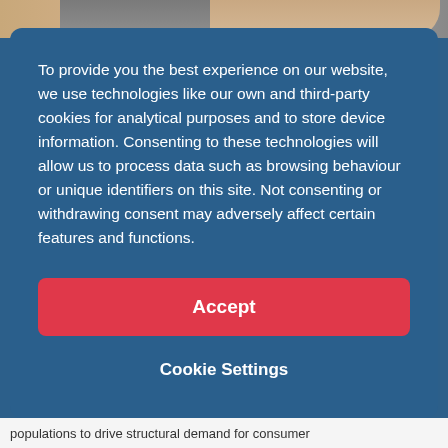[Figure (photo): Partial view of a person's photo visible at the top of the page behind a modal dialog overlay]
To provide you the best experience on our website, we use technologies like our own and third-party cookies for analytical purposes and to store device information. Consenting to these technologies will allow us to process data such as browsing behaviour or unique identifiers on this site. Not consenting or withdrawing consent may adversely affect certain features and functions.
Accept
Cookie Settings
populations to drive structural demand for consumer